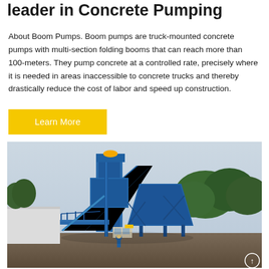leader in Concrete Pumping
About Boom Pumps. Boom pumps are truck-mounted concrete pumps with multi-section folding booms that can reach more than 100-meters. They pump concrete at a controlled rate, precisely where it is needed in areas inaccessible to concrete trucks and thereby drastically reduce the cost of labor and speed up construction.
Learn More
[Figure (photo): Large blue industrial concrete batching plant or mixing tower with steel frame structure, diagonal conveyor belt ramp, elevated platform with safety railings, set outdoors against a cloudy sky with green trees in the background. Workers visible at base level. Ground shows dirt/gravel construction site.]